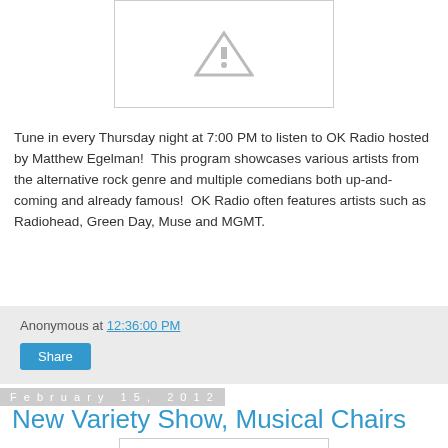[Figure (other): Placeholder image with grey triangle/warning icon on white background with border]
Tune in every Thursday night at 7:00 PM to listen to OK Radio hosted by Matthew Egelman!  This program showcases various artists from the alternative rock genre and multiple comedians both up-and-coming and already famous!  OK Radio often features artists such as Radiohead, Green Day, Muse and MGMT.
Anonymous at 12:36:00 PM
Share
February 15, 2012
New Variety Show, Musical Chairs
[Figure (other): Partial placeholder image at bottom of page]